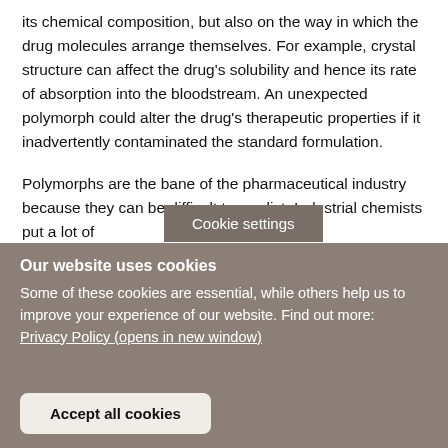its chemical composition, but also on the way in which the drug molecules arrange themselves. For example, crystal structure can affect the drug's solubility and hence its rate of absorption into the bloodstream. An unexpected polymorph could alter the drug's therapeutic properties if it inadvertently contaminated the standard formulation.
Polymorphs are the bane of the pharmaceutical industry because they can be difficult to predict. Industrial chemists put a lot of [effort into screening] for new
Cookie settings
Our website uses cookies
Some of these cookies are essential, while others help us to improve your experience of our website. Find out more:
Privacy Policy (opens in new window)
Accept all cookies